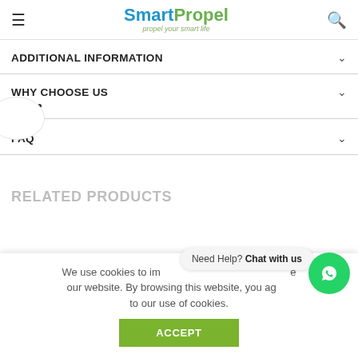SmartPropel – propel your smart life
ADDITIONAL INFORMATION
WHY CHOOSE US
...
FAQ
RELATED PRODUCTS
We use cookies to improve our website. By browsing this website, you agree to our use of cookies.
Need Help? Chat with us
ACCEPT